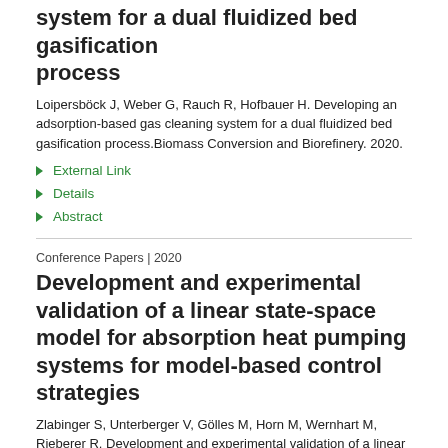system for a dual fluidized bed gasification process
Loipersböck J, Weber G, Rauch R, Hofbauer H. Developing an adsorption-based gas cleaning system for a dual fluidized bed gasification process.Biomass Conversion and Biorefinery. 2020.
External Link
Details
Abstract
Conference Papers | 2020
Development and experimental validation of a linear state-space model for absorption heat pumping systems for model-based control strategies
Zlabinger S, Unterberger V, Gölles M, Horn M, Wernhart M, Rieberer R. Development and experimental validation of a linear state-space model for absorption heat pumping systems for model-based control strategies. International Sorption Heat Pump Conference 2020.